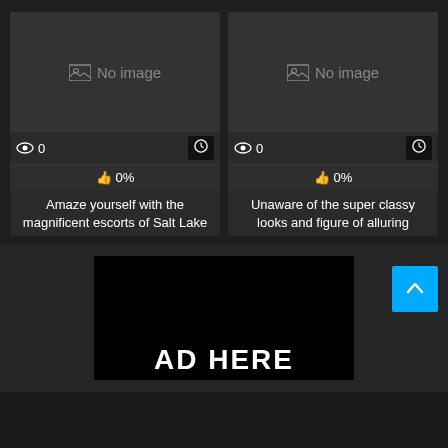[Figure (screenshot): Card with dark background showing 'No image' placeholder, view count 0, clock icon, and 0% likes]
Amaze yourself with the magnificent escorts of Salt Lake
[Figure (screenshot): Card with dark background showing 'No image' placeholder, view count 0, clock icon, and 0% likes]
Unaware of the super classy looks and figure of alluring
[Figure (other): Black advertisement block with 'AD HERE' text in large white bold letters and a cyan scroll-to-top button]